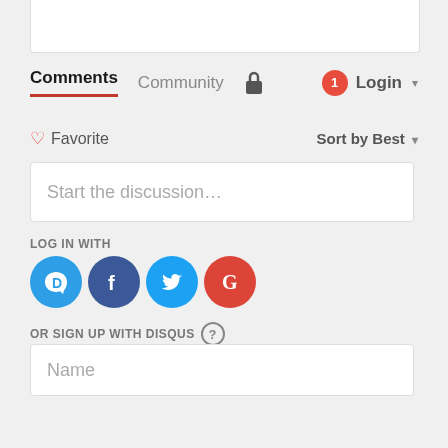[Figure (screenshot): Disqus comment section UI with navigation tabs (Comments, Community), lock icon, login button, favorite option, sort dropdown, discussion input box, social login icons (Disqus, Facebook, Twitter, Google), and Name sign-up field.]